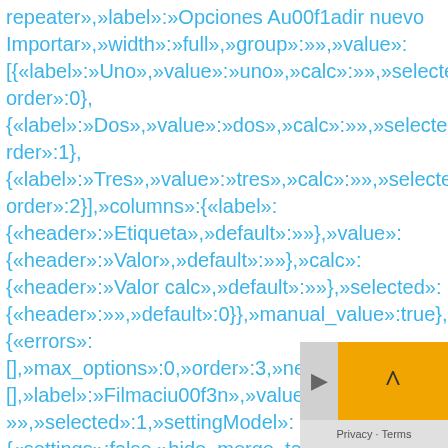repeater»,»label»:»Opciones Au00f1adir nuevo Importar»,»width»:»full»,»group»:»»,»value»:[{«label»:»Uno»,»value»:»uno»,»calc»:»»,»selected»:0,»order»:0},{«label»:»Dos»,»value»:»dos»,»calc»:»»,»selected»:0,»order»:1},{«label»:»Tres»,»value»:»tres»,»calc»:»»,»selected»:0,»order»:2}],»columns»:{«label»:{«header»:»Etiqueta»,»default»:»»},»value»:{«header»:»Valor»,»default»:»»},»calc»:{«header»:»Valor calc»,»default»:»»},»selected»:{«header»:»»,»default»:0}},»manual_value»:true},{«errors»:[],»max_options»:0,»order»:3,»new»:false,»options»:[],»label»:»Filmaciu00f3n»,»value»:»filmacion»,»»,»selected»:1,»settingModel»:{«settings»:false,»hide_merge_tags»:false,»error»:fal